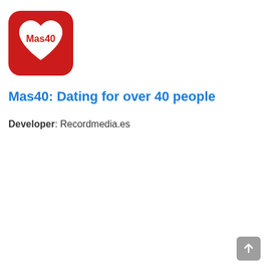[Figure (logo): Mas40 app icon: red rounded square with a white heart shape containing red text 'Mas40']
Mas40: Dating for over 40 people
Developer: Recordmedia.es